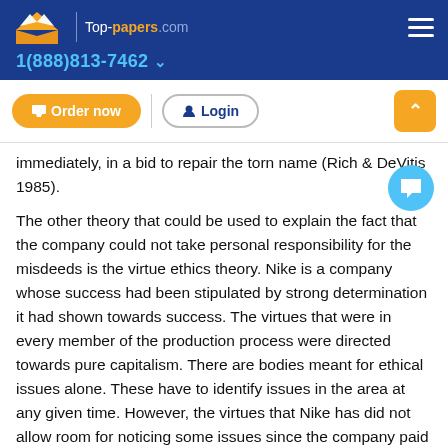Top-papers.com | 1(888)813-7462
immediately, in a bid to repair the torn name (Rich & DeVitis 1985).
The other theory that could be used to explain the fact that the company could not take personal responsibility for the misdeeds is the virtue ethics theory. Nike is a company whose success had been stipulated by strong determination it had shown towards success. The virtues that were in every member of the production process were directed towards pure capitalism. There are bodies meant for ethical issues alone. These have to identify issues in the area at any given time. However, the virtues that Nike has did not allow room for noticing some issues since the company paid much of its attention and efforts deriving profit (Gomez 2007). Therefore, the activities that the company was involved in were in